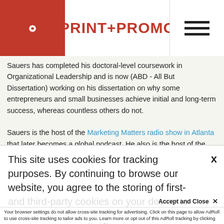PRINT+PROMO
Sauers has completed his doctoral-level coursework in Organizational Leadership and is now (ABD - All But Dissertation) working on his dissertation on why some entrepreneurs and small businesses achieve initial and long-term success, whereas countless others do not.
Sauers is the host of the Marketing Matters radio show in Atlanta that later becomes a global podcast. He also is the host of the Community Connections TV show that comes out in video and podcast form. Sauers is the author of the best-selling books, Everyone is in Sales, and Would You Buy from You? More info at RyanSauers.com or call (678) 825
This site uses cookies for tracking purposes. By continuing to browse our website, you agree to the storing of first- and third-party cookies on your device to enhance site navigation, analyze site usage, and assist in our marketing and
Accept and Close ✕
Your browser settings do not allow cross-site tracking for advertising. Click on this page to allow AdRoll to use cross-site tracking to tailor ads to you. Learn more or opt out of this AdRoll tracking by clicking here. This message only appears once.